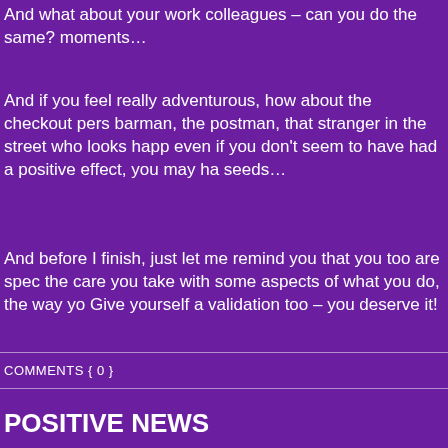And what about your work colleagues – can you do the same? moments...
And if you feel really adventurous, how about the checkout pers barman, the postman, that stranger in the street who looks happ even if you don't seem to have had a positive effect, you may ha seeds...
And before I finish, just let me remind you that you too are spec the care you take with some aspects of what you do, the way yo Give yourself a validation too – you deserve it!
COMMENTS { 0 }
POSITIVE NEWS